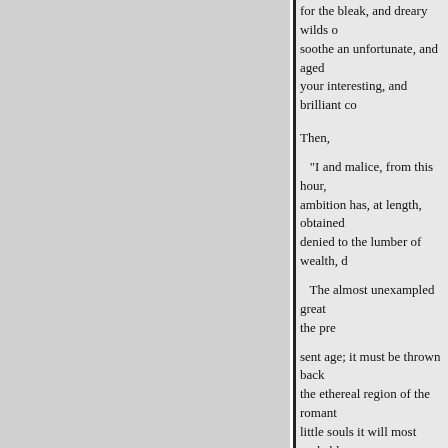for the bleak, and dreary wilds o soothe an unfortunate, and aged your interesting, and brilliant co
Then,
"I and malice, from this hour, ambition has, at length, obtained denied to the lumber of wealth, d
The almost unexampled great the pre
sent age; it must be thrown back the ethereal region of the romant little souls it will most probably
I have the honour to be,
with the highest esteem, and res
your inexpressibly obliged and most obedient servan
PERCIVAL STOCKDALE.